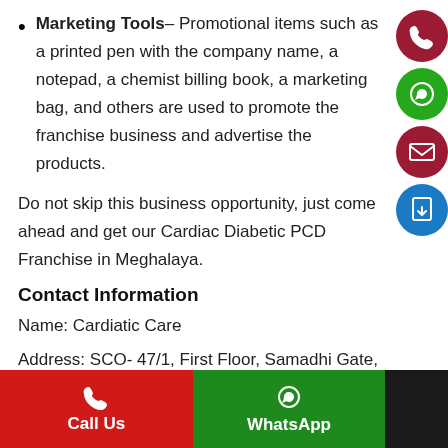Marketing Tools– Promotional items such as a printed pen with the company name, a notepad, a chemist billing book, a marketing bag, and others are used to promote the franchise business and advertise the products.
Do not skip this business opportunity, just come ahead and get our Cardiac Diabetic PCD Franchise in Meghalaya.
Contact Information
Name: Cardiatic Care
Address: SCO- 47/1, First Floor, Samadhi Gate, Old Ropar Road, Manimajra, 160101, Chandigarh.